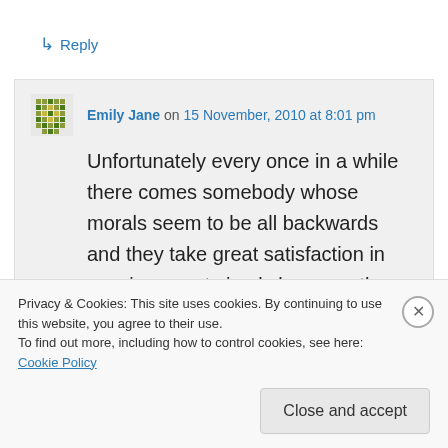↳ Reply
Emily Jane on 15 November, 2010 at 8:01 pm
Unfortunately every once in a while there comes somebody whose morals seem to be all backwards and they take great satisfaction in causing upset simply because they can sit behind their monitors. Just have to remind ourselves how
Privacy & Cookies: This site uses cookies. By continuing to use this website, you agree to their use.
To find out more, including how to control cookies, see here: Cookie Policy
Close and accept